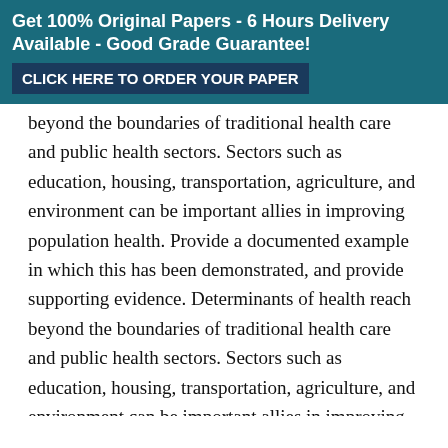Get 100% Original Papers - 6 Hours Delivery Available - Good Grade Guarantee! CLICK HERE TO ORDER YOUR PAPER
beyond the boundaries of traditional health care and public health sectors. Sectors such as education, housing, transportation, agriculture, and environment can be important allies in improving population health. Provide a documented example in which this has been demonstrated, and provide supporting evidence. Determinants of health reach beyond the boundaries of traditional health care and public health sectors. Sectors such as education, housing, transportation, agriculture, and environment can be important allies in improving population health. Provide a documented example in which this has been demonstrated, and provide supporting evidence. Determinants of health reach beyond the boundaries of traditional health care and public health sectors. Sectors such as education, housing, transportation, agriculture, and environment can